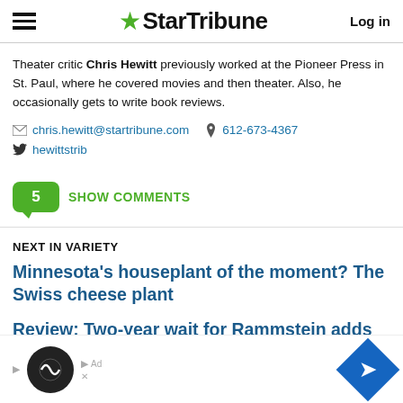StarTribune — Log in
Theater critic Chris Hewitt previously worked at the Pioneer Press in St. Paul, where he covered movies and then theater. Also, he occasionally gets to write book reviews.
chris.hewitt@startribune.com  612-673-4367  hewittstrib
5 SHOW COMMENTS
NEXT IN VARIETY
Minnesota's houseplant of the moment? The Swiss cheese plant
Review: Two-year wait for Rammstein adds to incend…